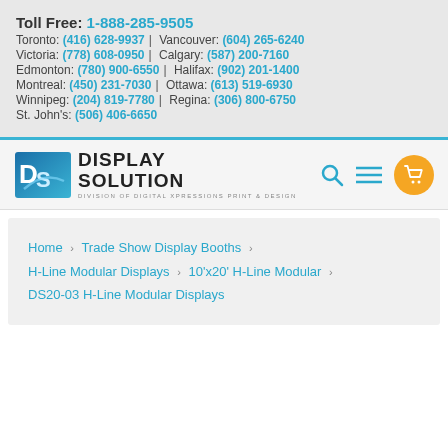Toll Free: 1-888-285-9505 | Toronto: (416) 628-9937 | Vancouver: (604) 265-6240 | Victoria: (778) 608-0950 | Calgary: (587) 200-7160 | Edmonton: (780) 900-6550 | Halifax: (902) 201-1400 | Montreal: (450) 231-7030 | Ottawa: (613) 519-6930 | Winnipeg: (204) 819-7780 | Regina: (306) 800-6750 | St. John's: (506) 406-6650
[Figure (logo): Display Solution logo — DS icon with blue gradient, text DISPLAY SOLUTION, subtitle DIVISION OF DIGITAL XPRESSIONS PRINT & DESIGN]
Home > Trade Show Display Booths > H-Line Modular Displays > 10'x20' H-Line Modular > DS20-03 H-Line Modular Displays